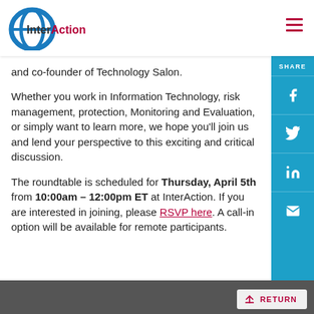[Figure (logo): InterAction logo with blue circular globe icon and dark red 'InterAction' text]
and co-founder of Technology Salon.
Whether you work in Information Technology, risk management, protection, Monitoring and Evaluation, or simply want to learn more, we hope you'll join us and lend your perspective to this exciting and critical discussion.
The roundtable is scheduled for Thursday, April 5th from 10:00am – 12:00pm ET at InterAction. If you are interested in joining, please RSVP here. A call-in option will be available for remote participants.